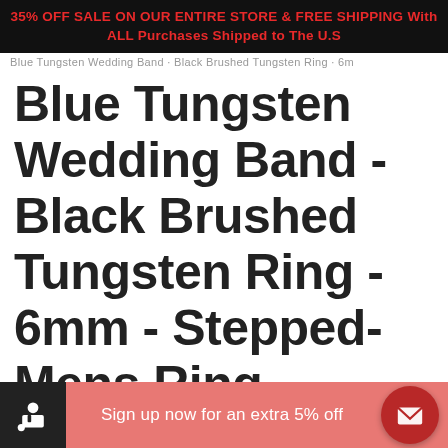35% OFF SALE ON OUR ENTIRE STORE & FREE SHIPPING With ALL Purchases Shipped to The U.S
Blue Tungsten Wedding Band · Black Brushed Tungsten Ring · 6m
Blue Tungsten Wedding Band - Black Brushed Tungsten Ring - 6mm - Stepped- Mens Ring - Tungsten Carbide - Engagement Band - Comfort Fit
Sign up now for an extra 5% off